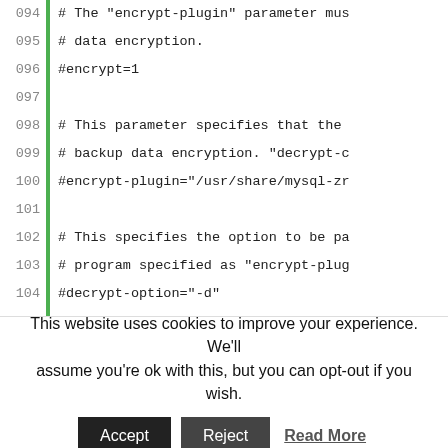094  # The "encrypt-plugin" parameter mus
095  # data encryption.
096  #encrypt=1
097
098  # This parameter specifies that the
099  # backup data encryption. "decrypt-c
100  #encrypt-plugin="/usr/share/mysql-zr
101
102  # This specifies the option to be pa
103  # program specified as "encrypt-plug
104  #decrypt-option="-d"
105
106  #
107  # Databases/Tables in the backup set
108  #
109  # One of the "all-databases" or "dat
110  # should be specified. If none of th
111  # is assumed.
112  #
113
114  # This parameter should be set to 1
This website uses cookies to improve your experience. We'll assume you're ok with this, but you can opt-out if you wish.
Accept  Reject  Read More